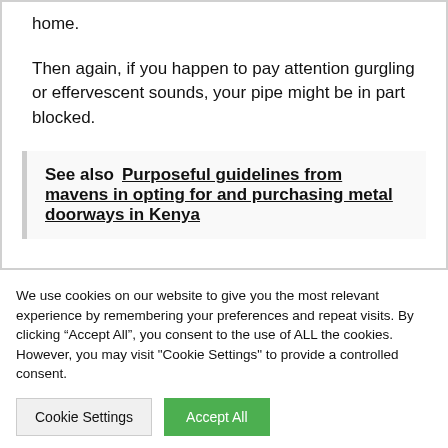home.
Then again, if you happen to pay attention gurgling or effervescent sounds, your pipe might be in part blocked.
See also  Purposeful guidelines from mavens in opting for and purchasing metal doorways in Kenya
We use cookies on our website to give you the most relevant experience by remembering your preferences and repeat visits. By clicking “Accept All”, you consent to the use of ALL the cookies. However, you may visit "Cookie Settings" to provide a controlled consent.